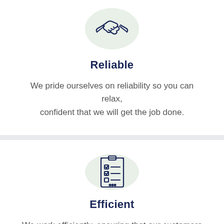[Figure (illustration): Handshake icon inside a light green circle, drawn in dark navy blue line style]
Reliable
We pride ourselves on reliability so you can relax, confident that we will get the job done.
[Figure (illustration): Clipboard with checklist icon inside a light green circle, drawn in dark navy blue line style]
Efficient
We work efficiently, ensuring that our customers return to us time and time again.